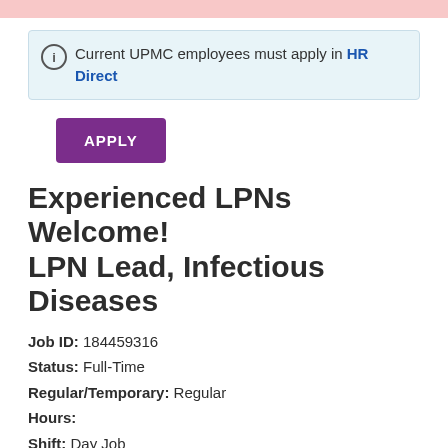Current UPMC employees must apply in HR Direct
APPLY
Experienced LPNs Welcome! LPN Lead, Infectious Diseases
Job ID: 184459316
Status: Full-Time
Regular/Temporary: Regular
Hours:
Shift: Day Job
Facility: UPMC Presbyterian
Department: Ctr - Infectious Diseases
Location: 3601 Fifth Avenue, Pittsburgh PA 15213